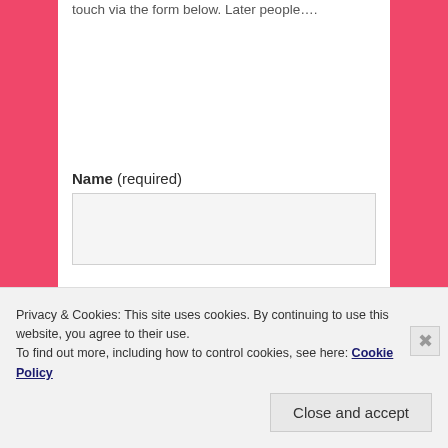touch via the form below.  Later people....
Name (required)
Email (required)
Website
Privacy & Cookies: This site uses cookies. By continuing to use this website, you agree to their use.
To find out more, including how to control cookies, see here: Cookie Policy
Close and accept